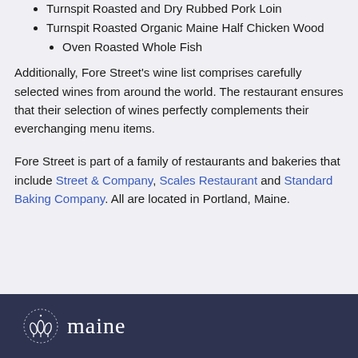Turnspit Roasted and Dry Rubbed Pork Loin
Turnspit Roasted Organic Maine Half Chicken Wood
Oven Roasted Whole Fish
Additionally, Fore Street’s wine list comprises carefully selected wines from around the world. The restaurant ensures that their selection of wines perfectly complements their everchanging menu items.
Fore Street is part of a family of restaurants and bakeries that include Street & Company, Scales Restaurant and Standard Baking Company. All are located in Portland, Maine.
maine [logo]